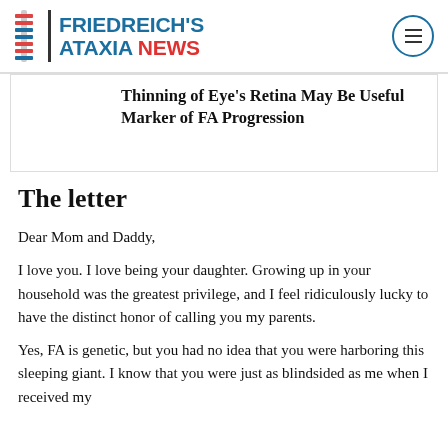FRIEDREICH'S ATAXIA NEWS
Thinning of Eye's Retina May Be Useful Marker of FA Progression
The letter
Dear Mom and Daddy,
I love you. I love being your daughter. Growing up in your household was the greatest privilege, and I feel ridiculously lucky to have the distinct honor of calling you my parents.
Yes, FA is genetic, but you had no idea that you were harboring this sleeping giant. I know that you were just as blindsided as me when I received my